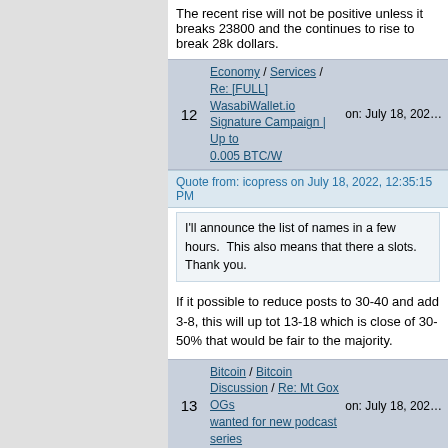The recent rise will not be positive unless it breaks 23800 and the continues to rise to break 28k dollars.
12   Economy / Services / Re: [FULL] WasabiWallet.io Signature Campaign | Up to 0.005 BTC/W   on: July 18, 202…
Quote from: icopress on July 18, 2022, 12:35:15 PM
I'll announce the list of names in a few hours.  This also means that there a slots. Thank you.
If it possible to reduce posts to 30-40 and add 3-8, this will up to 13-18 which is close of 30-50% that would be fair to the majority.
13   Bitcoin / Bitcoin Discussion / Re: Mt Gox OGs wanted for new podcast series   on: July 18, 202…
In this topic Bitcointalk history of MtGox and how a Bitcointalk po MtGox hacker., you will find all information you want to search for the price of Bitcoin and links to the topics that were talking about at the time.
If you read the responses, you will find some sub-topics such as https://bitcointalk.org/index.php?topic=444.msg3876#msg3876 (h password) DIRECT DOWNLOAD LINK FOR LEAKED MT. GOX ACCOUNT (CSV FILE) https://bitcointalk.org/index.php?topic=19576.0